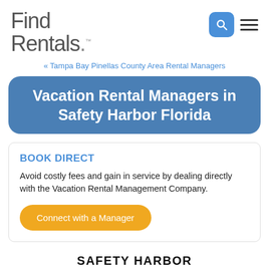Find Rentals.
« Tampa Bay Pinellas County Area Rental Managers
Vacation Rental Managers in Safety Harbor Florida
BOOK DIRECT
Avoid costly fees and gain in service by dealing directly with the Vacation Rental Management Company.
Connect with a Manager
SAFETY HARBOR